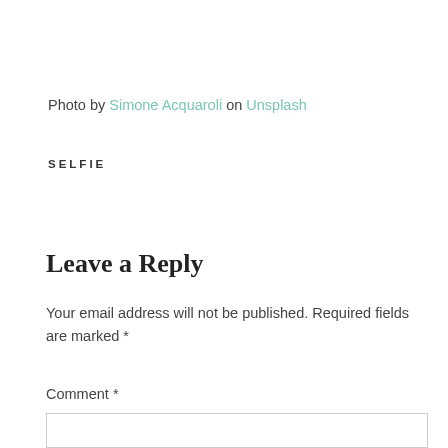Photo by Simone Acquaroli on Unsplash
SELFIE
Leave a Reply
Your email address will not be published. Required fields are marked *
Comment *